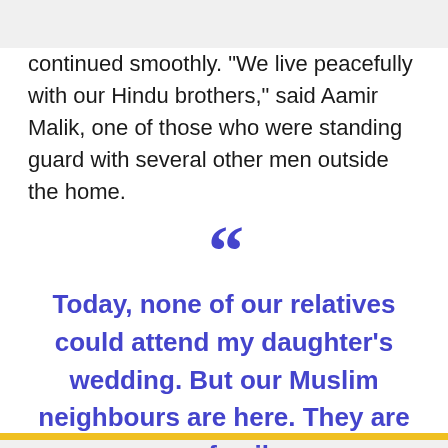continued smoothly. "We live peacefully with our Hindu brothers," said Aamir Malik, one of those who were standing guard with several other men outside the home.
Today, none of our relatives could attend my daughter's wedding. But our Muslim neighbours are here. They are our family.
- Bhoday Prasad